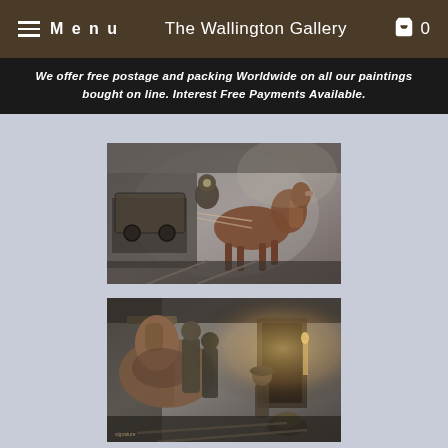Menu | The Wallington Gallery | 0
We offer free postage and packing Worldwide on all our paintings bought on line. Interest Free Payments Available.
[Figure (photo): Oil painting of a coal miner riding a horse-drawn cart through a mine tunnel, dark industrial scene with grey and brown tones.]
[Figure (photo): Oil painting of coal miners and a horse inside a mine, one figure sitting by candlelight on the right, dark atmospheric scene.]